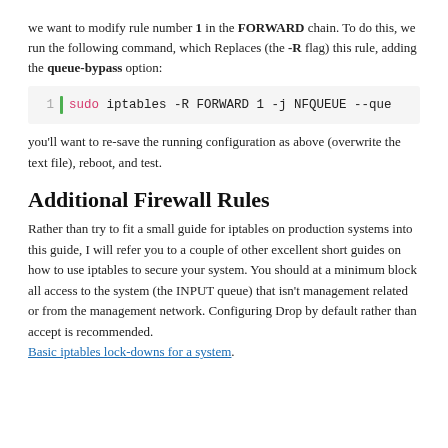we want to modify rule number 1 in the FORWARD chain. To do this, we run the following command, which Replaces (the -R flag) this rule, adding the queue-bypass option:
[Figure (screenshot): Code block: 1 | sudo iptables -R FORWARD 1 -j NFQUEUE --que]
you'll want to re-save the running configuration as above (overwrite the text file), reboot, and test.
Additional Firewall Rules
Rather than try to fit a small guide for iptables on production systems into this guide, I will refer you to a couple of other excellent short guides on how to use iptables to secure your system. You should at a minimum block all access to the system (the INPUT queue) that isn't management related or from the management network. Configuring Drop by default rather than accept is recommended.
Basic iptables lock-downs for a system.